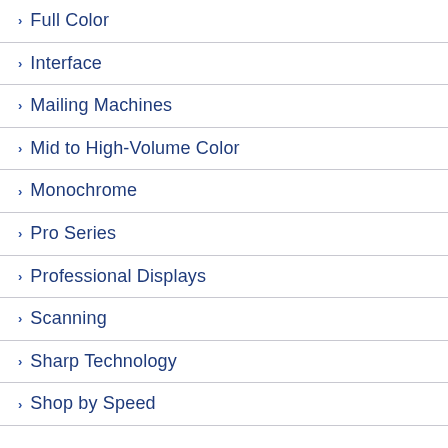Full Color
Interface
Mailing Machines
Mid to High-Volume Color
Monochrome
Pro Series
Professional Displays
Scanning
Sharp Technology
Shop by Speed